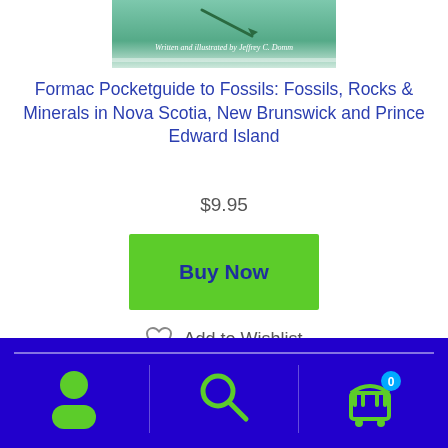[Figure (illustration): Top portion of a book cover with teal/green background, pen/pencil illustration, and text 'Written and illustrated by Jeffrey C. Domm']
Formac Pocketguide to Fossils: Fossils, Rocks & Minerals in Nova Scotia, New Brunswick and Prince Edward Island
$9.95
Buy Now
Add to Wishlist
[Figure (illustration): Bottom portion of a book cover with green banner reading 'NEW BRUNSWICK, NOVA SCOTIA & PRINCE EDWARD ISLAND' and sandy/earthy background with palm leaf illustration]
Navigation footer bar with user icon, search icon, and cart icon (0)